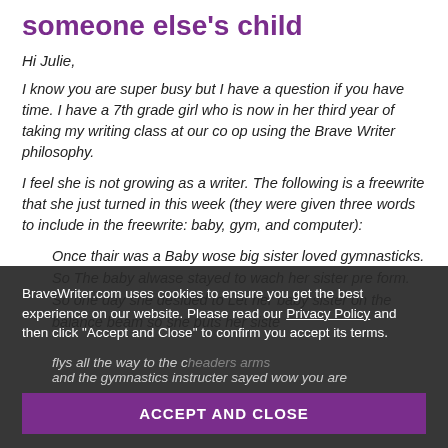someone else's child
Hi Julie,
I know you are super busy but I have a question if you have time. I have a 7th grade girl who is now in her third year of taking my writing class at our co op using the Brave Writer philosophy.
I feel she is not growing as a writer. The following is a freewrite that she just turned in this week (they were given three words to include in the freewrite: baby, gym, and computer):
Once thair was a Baby wose big sister loved gymnasticks. So The baby alwase stayed to wach her sister pre form. So one day she desided to Let her baby sister on the balance beam so she puts her sister on the balance beam and the baby Lans beam that she flys all the way to the cheaders arms and the gymnastics instructer sayed wow you are
BraveWriter.com uses cookies to ensure you get the best experience on our website. Please read our Privacy Policy and then click “Accept and Close” to confirm you accept its terms.
ACCEPT AND CLOSE